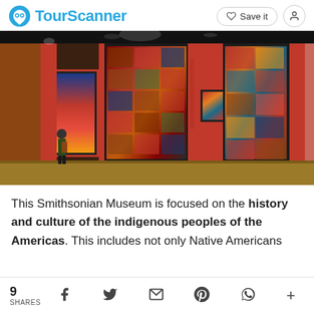TourScanner — Save it
[Figure (photo): Interior of the Smithsonian National Museum of the American Indian exhibition hall, showing curved dark panels with photo collages, red accent walls, framed artworks including a large portrait, a visitor standing in the gallery, and dramatic museum lighting.]
This Smithsonian Museum is focused on the history and culture of the indigenous peoples of the Americas. This includes not only Native Americans
9 SHARES  f  Twitter  Email  Pinterest  WhatsApp  +